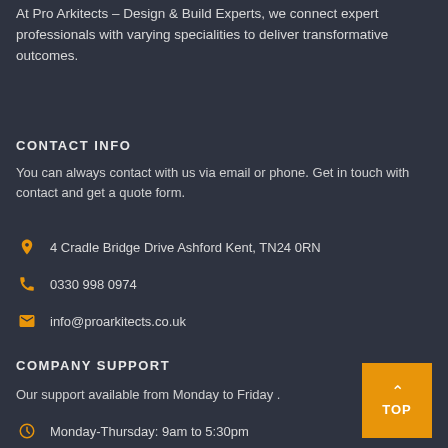At Pro Arkitects – Design & Build Experts, we connect expert professionals with varying specialities to deliver transformative outcomes.
CONTACT INFO
You can always contact with us via email or phone. Get in touch with contact and get a quote form.
4 Cradle Bridge Drive Ashford Kent, TN24 0RN
0330 998 0974
info@proarkitects.co.uk
COMPANY SUPPORT
Our support available from Monday to Friday .
Monday-Thursday: 9am to 5:30pm